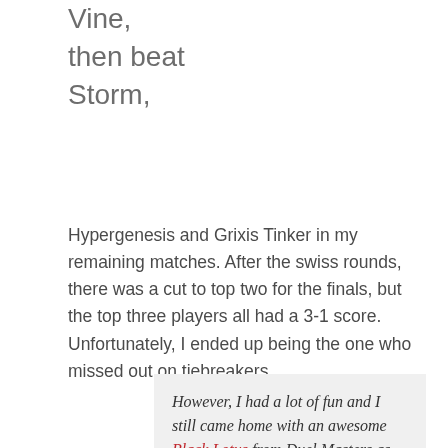Vine,
then beat
Storm,
Hypergenesis and Grixis Tinker in my remaining matches. After the swiss rounds, there was a cut to top two for the finals, but the top three players all had a 3-1 score. Unfortunately, I ended up being the one who missed out on tiebreakers.
However, I had a lot of fun and I still came home with an awesome Black Lotus from Duel Masters as my third-